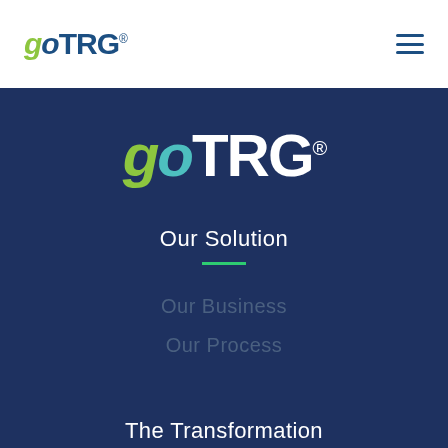[Figure (logo): goTRG logo in header — green italic 'g', dark blue italic 'o', dark blue 'TRG' with registered trademark symbol]
[Figure (other): Hamburger menu icon (three horizontal dark blue lines) in top-right of header]
[Figure (logo): Large goTRG logo centered on dark navy background — green italic 'g', teal italic 'o', white 'TRG' with registered trademark symbol]
Our Solution
Our Business
Our Process
The Transformation